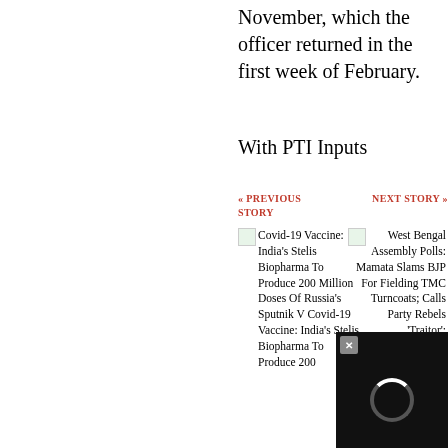November, which the officer returned in the first week of February.
With PTI Inputs
« PREVIOUS STORY
Covid-19 Vaccine: India's Stelis Biopharma To Produce 200 Million Doses Of Russia's Sputnik V Covid-19 Vaccine: India's Stelis Biopharma To Produce 200
NEXT STORY »
West Bengal Assembly Polls: Mamata Slams BJP For Fielding TMC Turncoats; Calls Party Rebels 'Traitor'